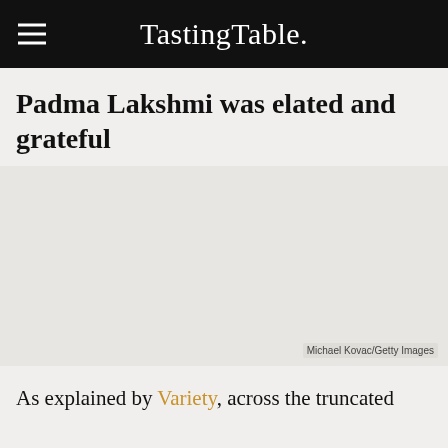TastingTable.
Padma Lakshmi was elated and grateful
[Figure (photo): Large image placeholder area with photo credit 'Michael Kovac/Getty Images']
As explained by Variety, across the truncated Lakshmi...